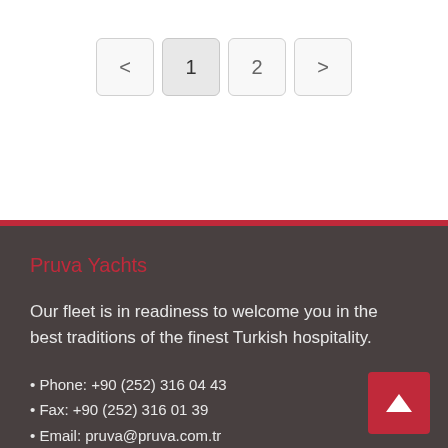[Figure (other): Pagination controls with buttons: < 1 2 >. Button '1' is highlighted/active with gray background.]
Pruva Yachts
Our fleet is in readiness to welcome you in the best traditions of the finest Turkish hospitality.
• Phone: +90 (252) 316 04 43
• Fax: +90 (252) 316 01 39
• Email: pruva@pruva.com.tr